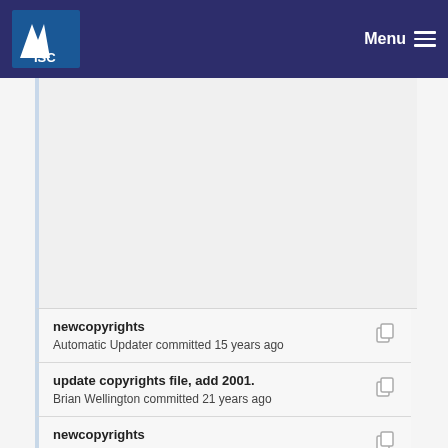ISC | Menu
newcopyrights
Automatic Updater committed 15 years ago
update copyrights file, add 2001.
Brian Wellington committed 21 years ago
newcopyrights
Automatic Updater committed 15 years ago
newcopyrights
Automatic Updater committed 13 years ago